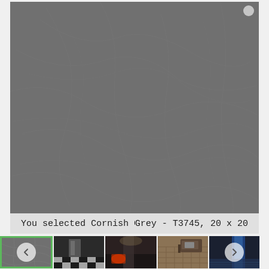[Figure (photo): Large close-up photo of a grey stone/tile surface texture called Cornish Grey - T3745, 20 x 20. The texture is a medium-dark grey with subtle natural stone veining patterns.]
You selected Cornish Grey - T3745, 20 x 20
[Figure (photo): Thumbnail strip showing 5 small images: (1) selected grey tile texture with left navigation arrow overlay, green border; (2) black and white bathroom interior; (3) dark interior room scene with red accent; (4) brown floor tile pattern with furniture; (5) dark scene with blue element and right navigation arrow overlay.]